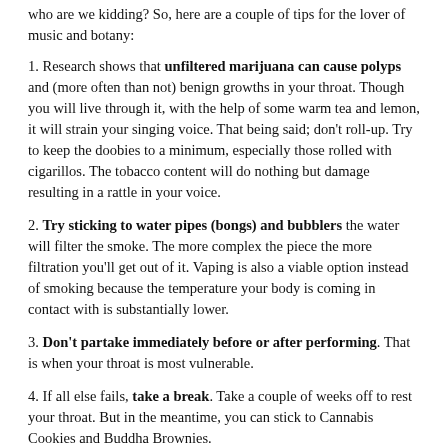who are we kidding? So, here are a couple of tips for the lover of music and botany:
1. Research shows that unfiltered marijuana can cause polyps and (more often than not) benign growths in your throat. Though you will live through it, with the help of some warm tea and lemon, it will strain your singing voice. That being said; don't roll-up. Try to keep the doobies to a minimum, especially those rolled with cigarillos. The tobacco content will do nothing but damage resulting in a rattle in your voice.
2. Try sticking to water pipes (bongs) and bubblers the water will filter the smoke. The more complex the piece the more filtration you'll get out of it. Vaping is also a viable option instead of smoking because the temperature your body is coming in contact with is substantially lower.
3. Don't partake immediately before or after performing. That is when your throat is most vulnerable.
4. If all else fails, take a break. Take a couple of weeks off to rest your throat. But in the meantime, you can stick to Cannabis Cookies and Buddha Brownies.
Jere Jones,  Management Intern